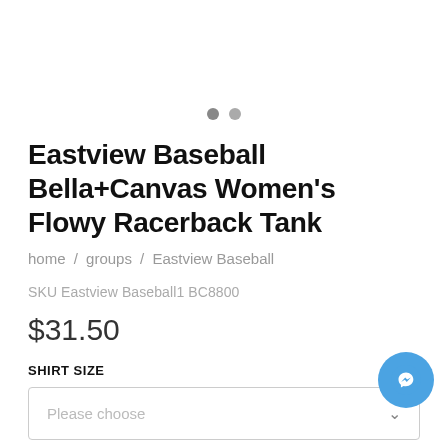Eastview Baseball Bella+Canvas Women's Flowy Racerback Tank
home / groups / Eastview Baseball
SKU Eastview Baseball1 BC8800
$31.50
SHIRT SIZE
Please choose
DECORATION OPTIONS